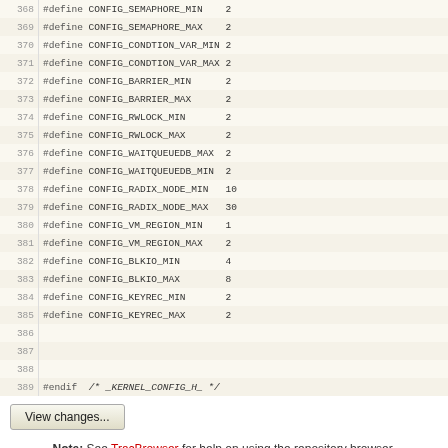| line | code |
| --- | --- |
| 368 | #define CONFIG_SEMAPHORE_MIN    2 |
| 369 | #define CONFIG_SEMAPHORE_MAX    2 |
| 370 | #define CONFIG_CONDTION_VAR_MIN 2 |
| 371 | #define CONFIG_CONDTION_VAR_MAX 2 |
| 372 | #define CONFIG_BARRIER_MIN      2 |
| 373 | #define CONFIG_BARRIER_MAX      2 |
| 374 | #define CONFIG_RWLOCK_MIN       2 |
| 375 | #define CONFIG_RWLOCK_MAX       2 |
| 376 | #define CONFIG_WAITQUEUEDB_MAX  2 |
| 377 | #define CONFIG_WAITQUEUEDB_MIN  2 |
| 378 | #define CONFIG_RADIX_NODE_MIN   10 |
| 379 | #define CONFIG_RADIX_NODE_MAX   30 |
| 380 | #define CONFIG_VM_REGION_MIN    1 |
| 381 | #define CONFIG_VM_REGION_MAX    2 |
| 382 | #define CONFIG_BLKIO_MIN        4 |
| 383 | #define CONFIG_BLKIO_MAX        8 |
| 384 | #define CONFIG_KEYREC_MIN       2 |
| 385 | #define CONFIG_KEYREC_MAX       2 |
| 386 |  |
| 387 |  |
| 388 |  |
| 389 | #endif  /* _KERNEL_CONFIG_H_ */ |
View changes...
Note: See TracBrowser for help on using the repository browser.
Download in other formats:
Plain Text | Original Format
Powered by Trac 1.2.3
By Edgewall Software.
Visit the Trac open source project at http://trac.edgewall.org/